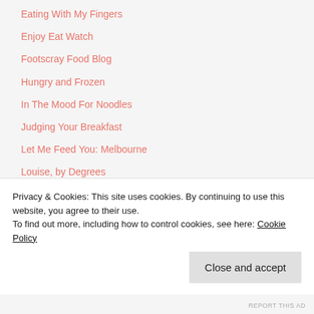Eating With My Fingers
Enjoy Eat Watch
Footscray Food Blog
Hungry and Frozen
In The Mood For Noodles
Judging Your Breakfast
Let Me Feed You: Melbourne
Louise, by Degrees
Melbourne Gastronome
No More Apples and Pears
Off The Spork
Privacy & Cookies: This site uses cookies. By continuing to use this website, you agree to their use.
To find out more, including how to control cookies, see here: Cookie Policy
REPORT THIS AD